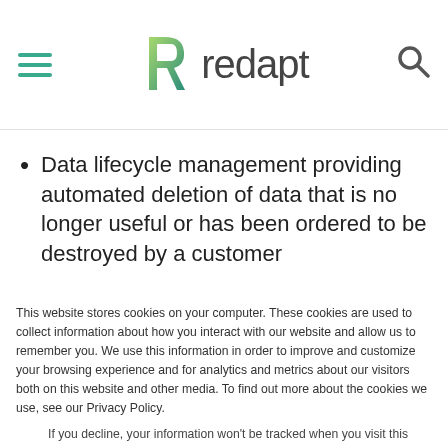redapt
Data lifecycle management providing automated deletion of data that is no longer useful or has been ordered to be destroyed by a customer
This website stores cookies on your computer. These cookies are used to collect information about how you interact with our website and allow us to remember you. We use this information in order to improve and customize your browsing experience and for analytics and metrics about our visitors both on this website and other media. To find out more about the cookies we use, see our Privacy Policy.
If you decline, your information won't be tracked when you visit this website. A single cookie will be used in your browser to remember your preference not to be tracked.